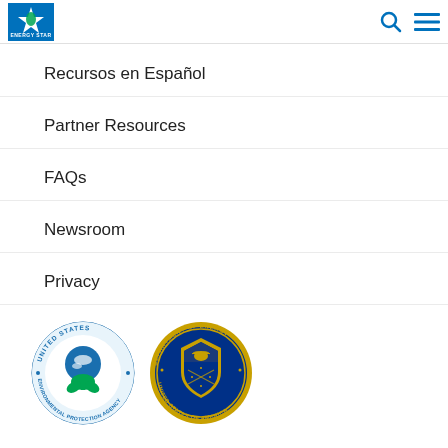ENERGY STAR navigation header with logo, search icon, and menu icon
Recursos en Español
Partner Resources
FAQs
Newsroom
Privacy
[Figure (logo): United States Environmental Protection Agency circular seal logo with blue globe and green plant on white background with blue and green text border]
[Figure (logo): Department of Energy United States of America circular seal logo with eagle and shield on blue background with gold text border]